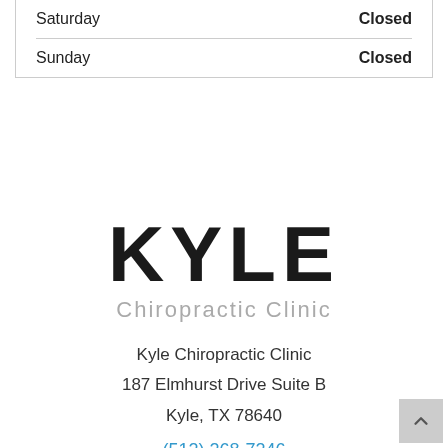| Day | Hours |
| --- | --- |
| Saturday | Closed |
| Sunday | Closed |
[Figure (logo): Kyle Chiropractic Clinic logo — large bold KYLE text above lighter 'Chiropractic Clinic' subtitle]
Kyle Chiropractic Clinic
187 Elmhurst Drive Suite B
Kyle, TX 78640
(512) 268-7246